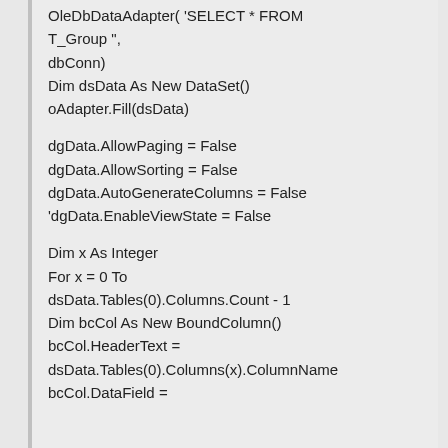OleDbDataAdapter( 'SELECT * FROM
T_Group ",
dbConn)
Dim dsData As New DataSet()
oAdapter.Fill(dsData)

dgData.AllowPaging = False
dgData.AllowSorting = False
dgData.AutoGenerateColumns = False
'dgData.EnableViewState = False

Dim x As Integer
For x = 0 To
dsData.Tables(0).Columns.Count - 1
Dim bcCol As New BoundColumn()
bcCol.HeaderText =
dsData.Tables(0).Columns(x).ColumnName
bcCol.DataField =